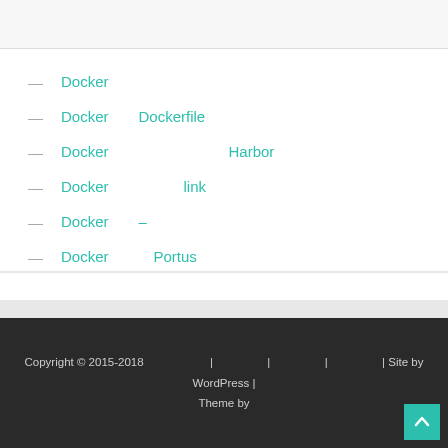Docker
Docker　　Dockerfile
Docker　　　　　　　　Harbor
Docker　　　　　link
Docker　　–
Docker　　　Portus
Docker
Docker　　Prometheus
Copyright © 2015-2018 　　　　　 | 　　　　 | 　　　　 | 　　　　 | Site by WordPress | Theme by